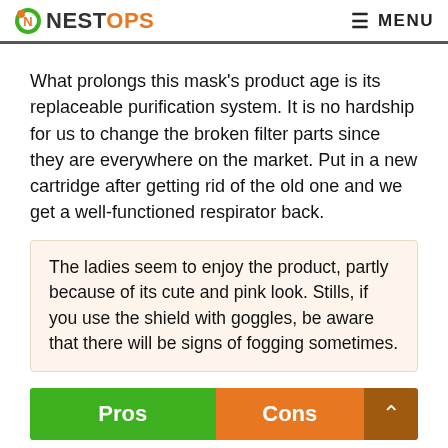NESTOPS MENU
What prolongs this mask’s product age is its replaceable purification system. It is no hardship for us to change the broken filter parts since they are everywhere on the market. Put in a new cartridge after getting rid of the old one and we get a well-functioned respirator back.
The ladies seem to enjoy the product, partly because of its cute and pink look. Stills, if you use the shield with goggles, be aware that there will be signs of fogging sometimes.
| Pros | Cons |
| --- | --- |
Three sizing   Fog up glasses